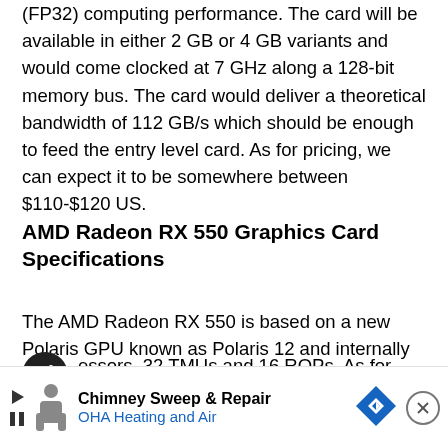(FP32) computing performance. The card will be available in either 2 GB or 4 GB variants and would come clocked at 7 GHz along a 128-bit memory bus. The card would deliver a theoretical bandwidth of 112 GB/s which should be enough to feed the entry level card. As for pricing, we can expect it to be somewhere between $110-$120 US.
AMD Radeon RX 550 Graphics Card Specifications
The AMD Radeon RX 550 is based on a new Polaris GPU known as Polaris 12 and internally known as Lexa Pro. This card would feature only 512 stream processors, 32 TMUs and 16 ROPs. As for boost clocks, it will run around 1183 MHz while the memory would ... R5 memory ... ver
[Figure (other): Advertisement overlay for Chimney Sweep & Repair - OHA Heating and Air, with navigation arrow logo and close button]